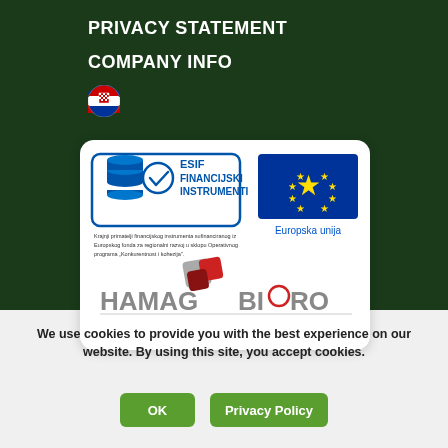PRIVACY STATEMENT
COMPANY INFO
[Figure (logo): Croatian flag icon]
[Figure (illustration): White card containing ESIF Financijski Instrumenti logo, EU flag with Europska unija label, small Croatian text about EU funding, and HAMAG-BICRO logo]
We use cookies to provide you with the best experience on our website. By using this site, you accept cookies.
OK
Privacy Policy